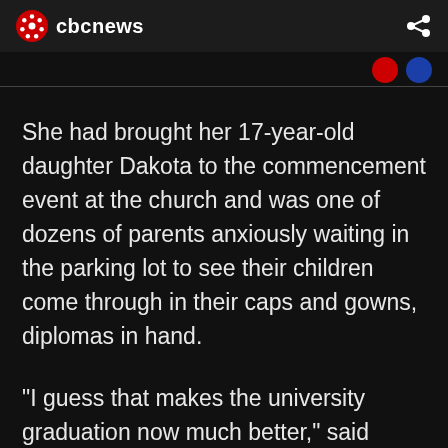cbcnews
She had brought her 17-year-old daughter Dakota to the commencement event at the church and was one of dozens of parents anxiously waiting in the parking lot to see their children come through in their caps and gowns, diplomas in hand.
“I guess that makes the university graduation now much better,” said Keith.